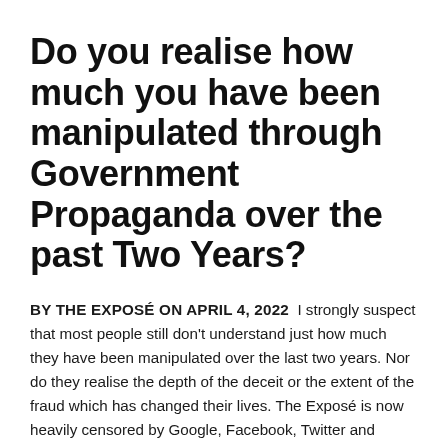Do you realise how much you have been manipulated through Government Propaganda over the past Two Years?
BY THE EXPOSÉ ON APRIL 4, 2022  I strongly suspect that most people still don't understand just how much they have been manipulated over the last two years. Nor do they realise the depth of the deceit or the extent of the fraud which has changed their lives. The Exposé is now heavily censored by Google, Facebook, Twitter and